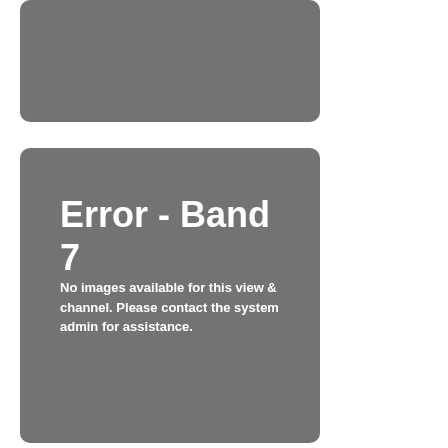[Figure (other): Gray rounded rectangle box at top, no content visible]
Error - Band 7
No images available for this view & channel. Please contact the system admin for assistance.